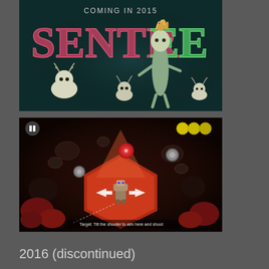[Figure (illustration): Sentree game logo on dark teal background. Text reads 'COMING IN 2015' at top. Large stylized pink/green letters spell 'SENTREE'. A tall tree-like creature character with flame-hair stands center-right, surrounded by three smaller deer-antlered white creatures.]
[Figure (screenshot): In-game screenshot of an action game with overhead isometric view. Red/orange environment with dark surroundings. A robot-like character is in the center on a glowing red hexagonal floor. Arrow markers point around the scene. Three yellow circular icons in top-right corner. Pause button top-left. White text tooltip at bottom reads: 'Target: Tilt the shooter to aim here and shoot']
2016 (discontinued)